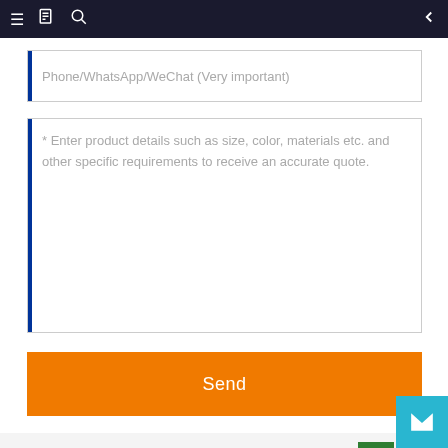Navigation bar with menu, document, search icons and back arrow
Phone/WhatsApp/WeChat (Very important)
* Enter product details such as size, color, materials etc. and other specific requirements to receive an accurate quote.
Send
Related PRODUCTS
[Figure (photo): Product image showing binoculars with a person, partially visible at bottom of page]